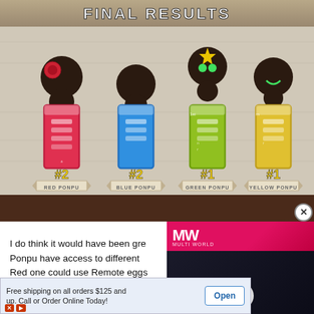[Figure (screenshot): Game screenshot showing 'FINAL RESULTS' screen with four Ponpu characters (Red, Blue, Green, Yellow) displayed with stat cards and rankings. Red Ponpu: #2, Blue Ponpu: #2, Green Ponpu: #1, Yellow Ponpu: #1. A dark brown 'continue' bar is at the bottom.]
I do think it would have been gre... Ponpu have access to different ... Red one could use Remote eggs... Freeze eggs. But I digress. The ... have access to two other specia... multiplayer modes. That said, you'll be spending most of your ti... wo specia... ough
[Figure (screenshot): Video advertisement overlay showing MW (Multi World) logo on pink/magenta background with 'EMBRACER GROUP BUY LOTR RIGHTS' text on dark background with play button]
[Figure (screenshot): Bottom banner advertisement: 'Free shipping on all orders $125 and up. Call or Order Online Today!' with 'Open' button]